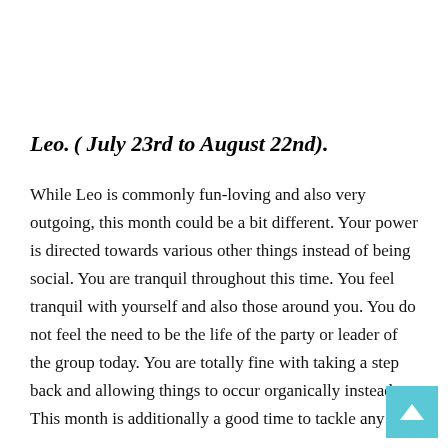Leo.
( July 23rd to August 22nd).
While Leo is commonly fun-loving and also very outgoing, this month could be a bit different. Your power is directed towards various other things instead of being social. You are tranquil throughout this time. You feel tranquil with yourself and also those around you. You do not feel the need to be the life of the party or leader of the group today. You are totally fine with taking a step back and allowing things to occur organically instead. This month is additionally a good time to tackle any